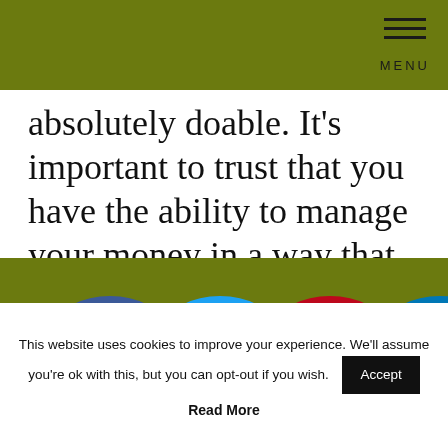MENU
absolutely doable. It's important to trust that you have the ability to manage your money in a way that aligns with your values and wants. Because you do!
[Figure (other): Social media share icons: Facebook (blue), Twitter (light blue), Pinterest (red), LinkedIn (blue) — partially visible at bottom of page]
This website uses cookies to improve your experience. We'll assume you're ok with this, but you can opt-out if you wish.
Accept
Read More